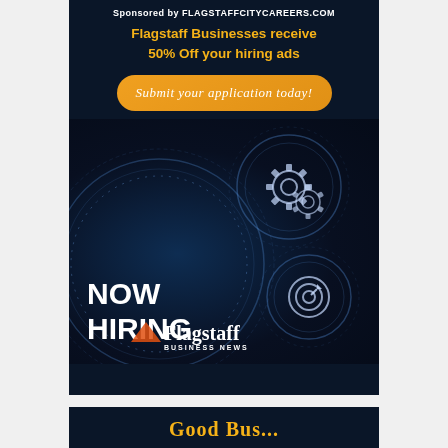[Figure (infographic): Advertisement banner with dark navy blue background. Top text reads 'Sponsored by FLAGSTAFFCITYCAREERS.COM' in white bold. Below in orange/yellow text: 'Flagstaff Businesses receive 50% Off your hiring ads'. An orange rounded button with italic cursive text 'Submit your application today!'. Lower portion shows tech-themed circular rings with gears and target icons. Large white bold text 'NOW HIRING'. Flagstaff Business News logo with orange mountain accent at bottom.]
[Figure (infographic): Partial bottom advertisement banner with dark navy blue background showing the beginning of orange/gold text.]